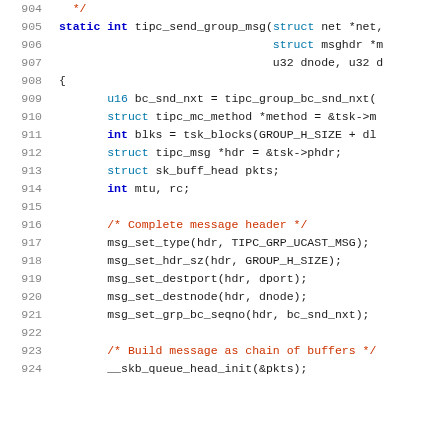[Figure (screenshot): Source code listing showing lines 904-924 of a C function tipc_send_group_msg with line numbers in gray on the left, keywords in blue bold, comments in red/orange, and identifiers in dark color on white background.]